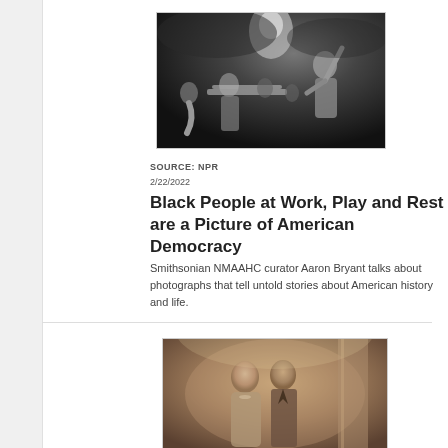[Figure (photo): Black and white photograph of jazz musicians performing, with a singer or conductor with arms raised and musicians playing brass instruments]
SOURCE: NPR
2/22/2022
Black People at Work, Play and Rest are a Picture of American Democracy
Smithsonian NMAAHC curator Aaron Bryant talks about photographs that tell untold stories about American history and life.
[Figure (photo): Sepia-toned vintage portrait photograph of a couple, a woman and a man posed together]